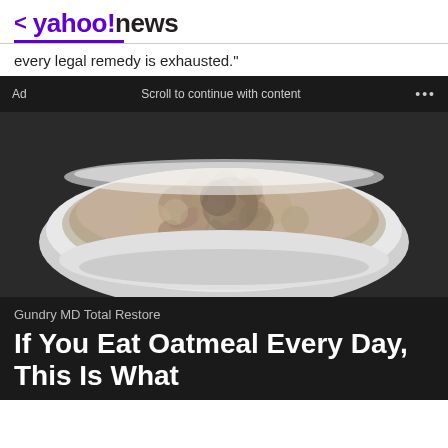< yahoo!news
every legal remedy is exhausted."
Ad   Scroll to continue with content   ...
[Figure (photo): A white bowl filled with oatmeal/porridge viewed from above, on a white surface. The oatmeal has a lumpy, textured surface in beige/tan tones.]
Gundry MD Total Restore
If You Eat Oatmeal Every Day, This Is What